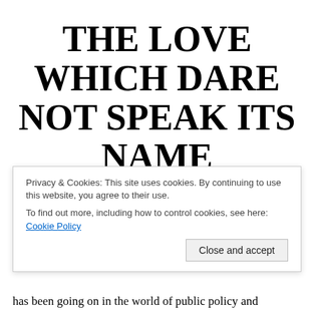THE LOVE WHICH DARE NOT SPEAK ITS NAME
Posted on May 27, 2011 by Travis Fast under central banks, Class War, Corruption, Neoliberalism, OECD
Privacy & Cookies: This site uses cookies. By continuing to use this website, you agree to their use.
To find out more, including how to control cookies, see here: Cookie Policy
Close and accept
has been going on in the world of public policy and